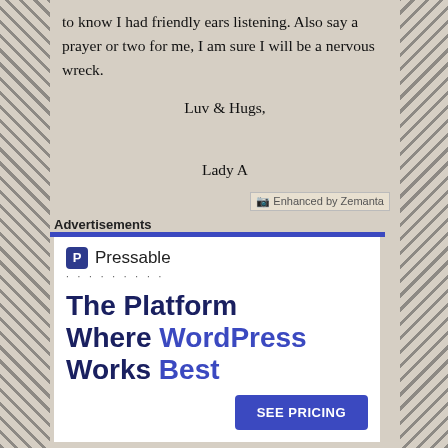to know I had friendly ears listening. Also say a prayer or two for me, I am sure I will be a nervous wreck.
Luv & Hugs,

Lady A
[Figure (logo): Enhanced by Zemanta badge/logo]
Advertisements
[Figure (screenshot): Pressable advertisement: The Platform Where WordPress Works Best, with SEE PRICING button]